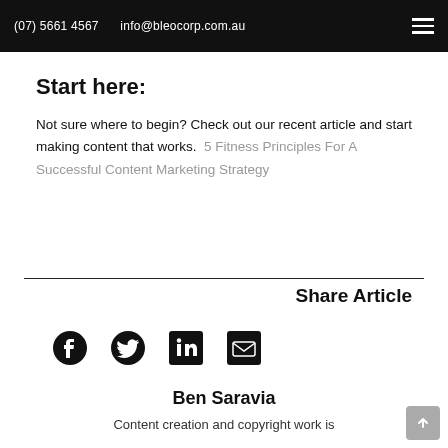(07) 5661 4567   info@bleocorp.com.au
Start here:
Not sure where to begin? Check out our recent article and start making content that works.  5 Fitness Principles For A Successful Content Marketing Strategy
Share Article
[Figure (illustration): Social share icons: Facebook, Twitter, LinkedIn, Email]
Ben Saravia
Content creation and copyright work is